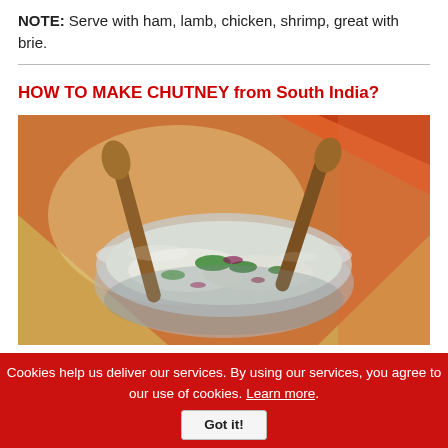NOTE: Serve with ham, lamb, chicken, shrimp, great with brie.
[Figure (photo): A glass bowl filled with chutney (coconut-based mixture with green herbs and red onion), two wooden spoons inside, colorful patterned fabric in background.]
HOW TO MAKE CHUTNEY from South India?
Cookies help us deliver our services. By using our services, you agree to our use of cookies. Learn more.
Got it!